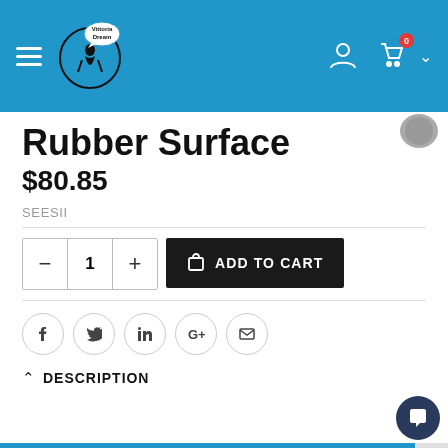[Figure (screenshot): E-commerce website header with blue background, hamburger menu, Vittoria Dream logo, user icon, and cart icon with 0 badge]
Rubber Surface
$80.85
SEESII
[Figure (screenshot): Add to cart section with quantity selector showing 1 and black ADD TO CART button]
[Figure (screenshot): Social share icons: Facebook, Twitter, LinkedIn, Google+, Email]
DESCRIPTION